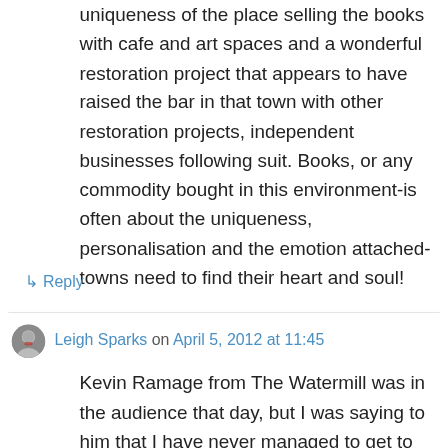uniqueness of the place selling the books with cafe and art spaces and a wonderful restoration project that appears to have raised the bar in that town with other restoration projects, independent businesses following suit. Books, or any commodity bought in this environment-is often about the uniqueness, personalisation and the emotion attached- towns need to find their heart and soul!
↳ Reply
Leigh Sparks on April 5, 2012 at 11:45
Kevin Ramage from The Watermill was in the audience that day, but I was saying to him that I have never managed to get to his place (of